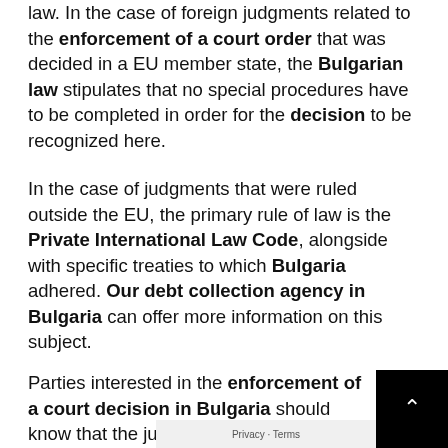law. In the case of foreign judgments related to the enforcement of a court order that was decided in a EU member state, the Bulgarian law stipulates that no special procedures have to be completed in order for the decision to be recognized here.
In the case of judgments that were ruled outside the EU, the primary rule of law is the Private International Law Code, alongside with specific treaties to which Bulgaria adhered. Our debt collection agency in Bulgaria can offer more information on this subject.
Parties interested in the enforcement of a court decision in Bulgaria should know that the judgmen...